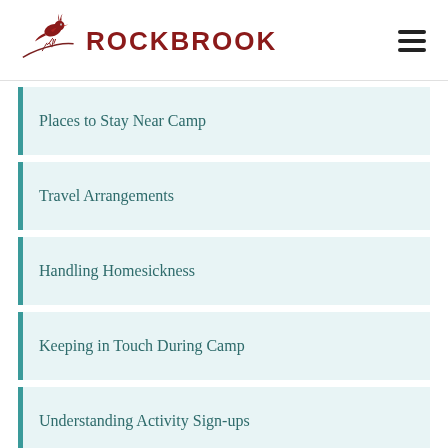ROCKBROOK
Places to Stay Near Camp
Travel Arrangements
Handling Homesickness
Keeping in Touch During Camp
Understanding Activity Sign-ups
Camp Food & Meals